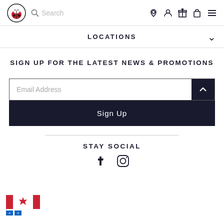Logo, Search, Navigation icons
LOCATIONS
SIGN UP FOR THE LATEST NEWS & PROMOTIONS
Email Address
Sign Up
STAY SOCIAL